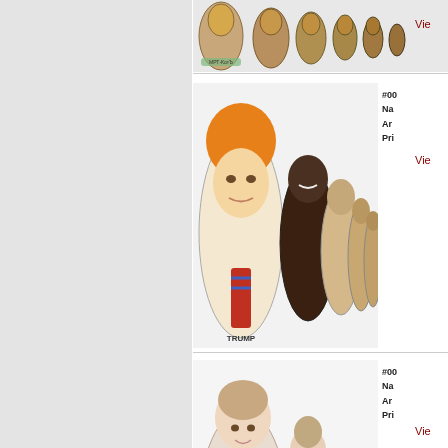[Figure (photo): Partial view of a row of Russian matryoshka nesting dolls with colorful designs, top portion visible]
Vie...
[Figure (photo): Set of Russian matryoshka nesting dolls with portrait of Donald Trump (with orange hair and tie) as largest doll, followed by smaller dolls of other political figures]
#00...
Na...
Ar...
Pri...
Vie...
[Figure (photo): Set of Russian matryoshka nesting dolls with floral designs showing young women/girls in traditional dress with flowers]
#00...
Na...
Ar...
Pri...
Vie...
Home | Contact us | Shipping information | About us | Links | Pri...
Copyright 2003-2022 RussianLacquerArt.com
Design by ProfSolutions.ru